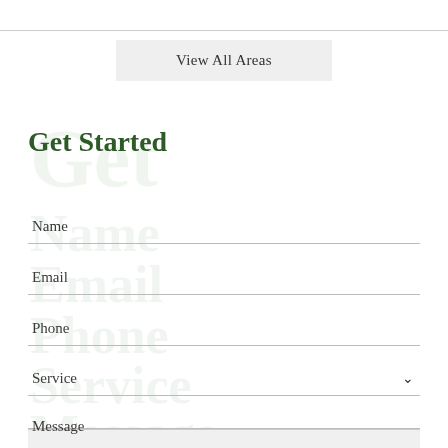[Figure (other): View All Areas button — a rectangular grey button with the label 'View All Areas']
Get Started
Name
Email
Phone
Service
Message